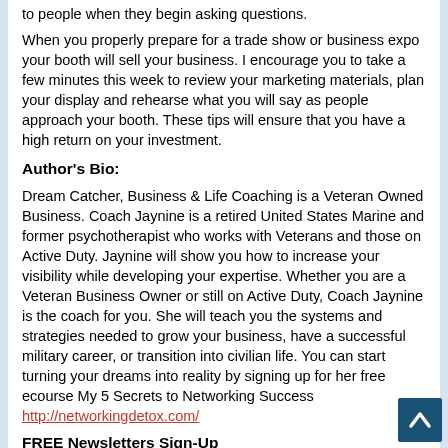to people when they begin asking questions.
When you properly prepare for a trade show or business expo your booth will sell your business. I encourage you to take a few minutes this week to review your marketing materials, plan your display and rehearse what you will say as people approach your booth. These tips will ensure that you have a high return on your investment.
Author's Bio:
Dream Catcher, Business & Life Coaching is a Veteran Owned Business. Coach Jaynine is a retired United States Marine and former psychotherapist who works with Veterans and those on Active Duty. Jaynine will show you how to increase your visibility while developing your expertise. Whether you are a Veteran Business Owner or still on Active Duty, Coach Jaynine is the coach for you. She will teach you the systems and strategies needed to grow your business, have a successful military career, or transition into civilian life. You can start turning your dreams into reality by signing up for her free ecourse My 5 Secrets to Networking Success http://networkingdetox.com/
FREE Newsletters Sign-Up
Access the best success, personal development, health, fitness, business, and financial advice....all for FREE!
Email Address: